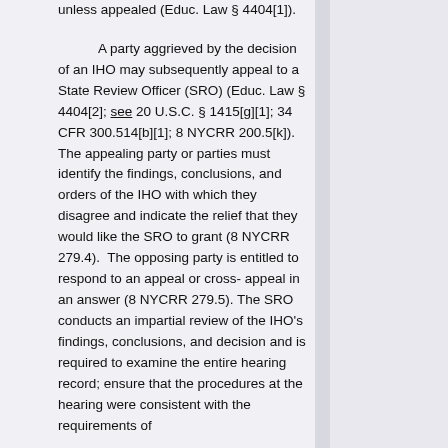unless appealed (Educ. Law § 4404[1]). A party aggrieved by the decision of an IHO may subsequently appeal to a State Review Officer (SRO) (Educ. Law § 4404[2]; see 20 U.S.C. § 1415[g][1]; 34 CFR 300.514[b][1]; 8 NYCRR 200.5[k]). The appealing party or parties must identify the findings, conclusions, and orders of the IHO with which they disagree and indicate the relief that they would like the SRO to grant (8 NYCRR 279.4). The opposing party is entitled to respond to an appeal or cross- appeal in an answer (8 NYCRR 279.5). The SRO conducts an impartial review of the IHO's findings, conclusions, and decision and is required to examine the entire hearing record; ensure that the procedures at the hearing were consistent with the requirements of